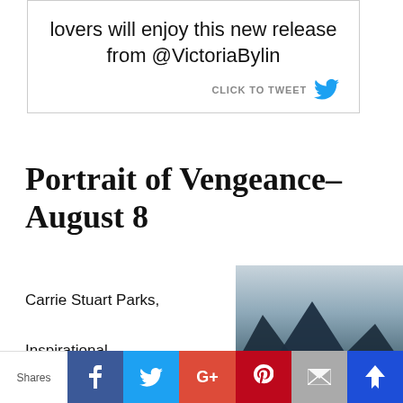lovers will enjoy this new release from @VictoriaBylin
CLICK TO TWEET
Portrait of Vengeance– August 8
Carrie Stuart Parks, Inspirational Suspence When Gwen Marcey, a forensic
[Figure (illustration): Book cover for 'Portrait of Vengeance' showing a misty lake with a small boat and mountain silhouette, dark blue tones with white text reading PORTRAIT OF]